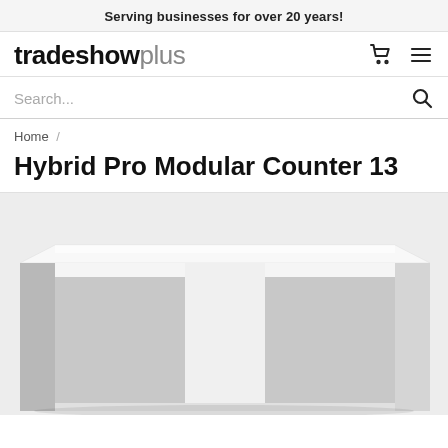Serving businesses for over 20 years!
[Figure (logo): tradeshowplus logo in bold black and grey text]
Search...
Home /
Hybrid Pro Modular Counter 13
[Figure (photo): White modular trade show counter with open shelving compartments, viewed from a 3/4 angle on a light grey background]